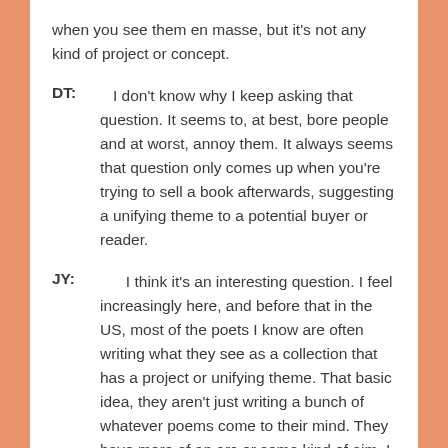when you see them en masse, but it's not any kind of project or concept.
DT: I don't know why I keep asking that question. It seems to, at best, bore people and at worst, annoy them. It always seems that question only comes up when you're trying to sell a book afterwards, suggesting a unifying theme to a potential buyer or reader.
JY: I think it's an interesting question. I feel increasingly here, and before that in the US, most of the poets I know are often writing what they see as a collection that has a project or unifying theme. That basic idea, they aren't just writing a bunch of whatever poems come to their mind. They have more of an arc or some kind of aim, I guess you would say. It's kind of cool. A lot of these collections with that feel are really strong and